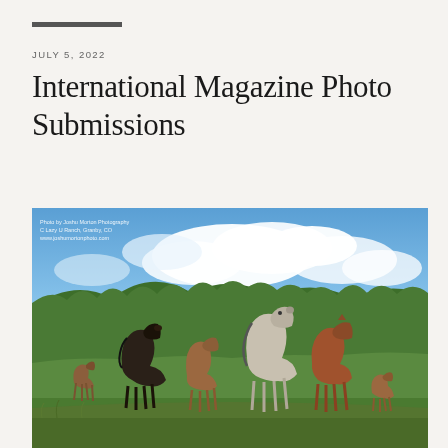JULY 5, 2022
International Magazine Photo Submissions
[Figure (photo): A herd of horses — brown, black, white/grey, and chestnut — standing in a green mountain meadow with pine-forested hills and dramatic cloudy blue sky in the background. Photo credit text in upper left reads: Photo by Joshu Morton Photography / C Lazy U Ranch, Granby, CO / www.joshumortonphoto.com]